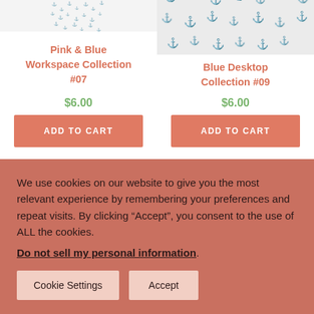[Figure (photo): Left product image with repeating anchor/arrow pattern on light gray background]
Pink & Blue Workspace Collection #07
$6.00
ADD TO CART
[Figure (photo): Right product image with repeating anchor pattern on light gray background]
Blue Desktop Collection #09
$6.00
ADD TO CART
We use cookies on our website to give you the most relevant experience by remembering your preferences and repeat visits. By clicking “Accept”, you consent to the use of ALL the cookies.
Do not sell my personal information.
Cookie Settings
Accept